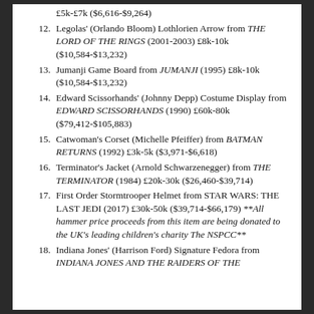£5k-£7k ($6,616-$9,264)
Legolas' (Orlando Bloom) Lothlorien Arrow from THE LORD OF THE RINGS (2001-2003) £8k-10k ($10,584-$13,232)
Jumanji Game Board from JUMANJI (1995) £8k-10k ($10,584-$13,232)
Edward Scissorhands' (Johnny Depp) Costume Display from EDWARD SCISSORHANDS (1990) £60k-80k ($79,412-$105,883)
Catwoman's Corset (Michelle Pfeiffer) from BATMAN RETURNS (1992) £3k-5k ($3,971-$6,618)
Terminator's Jacket (Arnold Schwarzenegger) from THE TERMINATOR (1984) £20k-30k ($26,460-$39,714)
First Order Stormtrooper Helmet from STAR WARS: THE LAST JEDI (2017) £30k-50k ($39,714-$66,179) **All hammer price proceeds from this item are being donated to the UK's leading children's charity The NSPCC**
Indiana Jones' (Harrison Ford) Signature Fedora from INDIANA JONES AND THE RAIDERS OF THE...